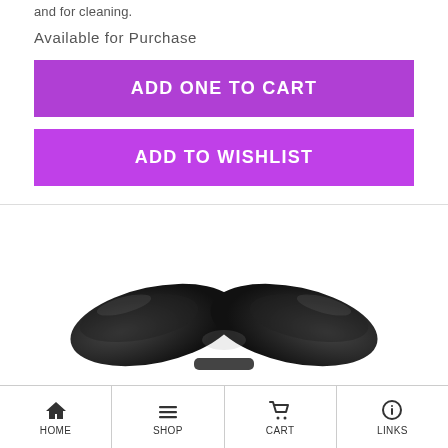and for cleaning.
Available for Purchase
ADD ONE TO CART
ADD TO WISHLIST
[Figure (photo): A black mouthguard or athletic guard product shown from above, forming a curved U-shape on a white background]
HOME  SHOP  CART  LINKS